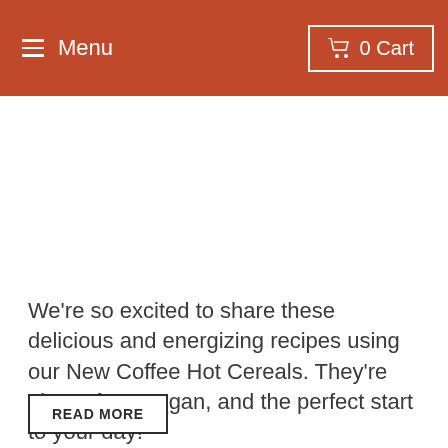Menu  0 Cart
We're so excited to share these delicious and energizing recipes using our New Coffee Hot Cereals. They're gluten-free, vegan, and the perfect start to your day!
READ MORE